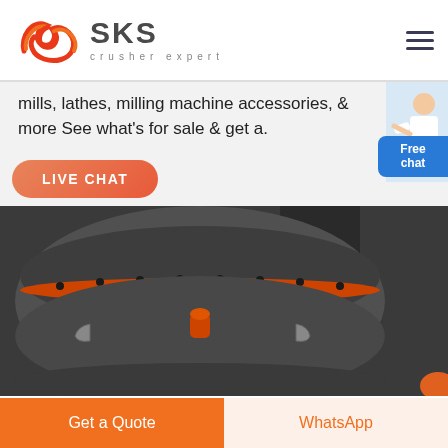[Figure (logo): SKS crusher expert logo with red swirl emblem and dark text]
mills, lathes, milling machine accessories, & more See what's for sale & get a.
[Figure (illustration): Free chat button with advisor figure in white background]
[Figure (photo): Industrial cone crusher machine in dark gray with orange accents]
LIVE CHAT
Get a Quote
WhatsApp